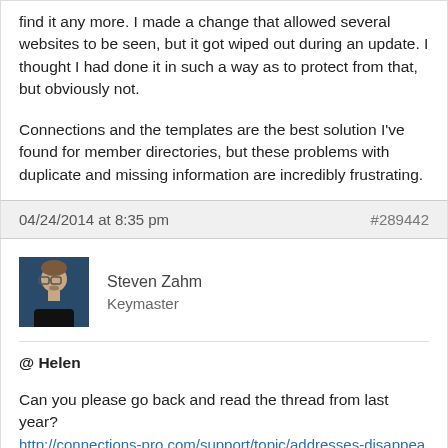find it any more. I made a change that allowed several websites to be seen, but it got wiped out during an update. I thought I had done it in such a way as to protect from that, but obviously not.

Connections and the templates are the best solution I've found for member directories, but these problems with duplicate and missing information are incredibly frustrating.
04/24/2014 at 8:35 pm   #289442
Steven Zahm
Keymaster
@ Helen

Can you please go back and read the thread from last year?
http://connections-pro.com/support/topic/addresses-disappear-when-edit-entries/

As explained in that thread, for some reason, back then...